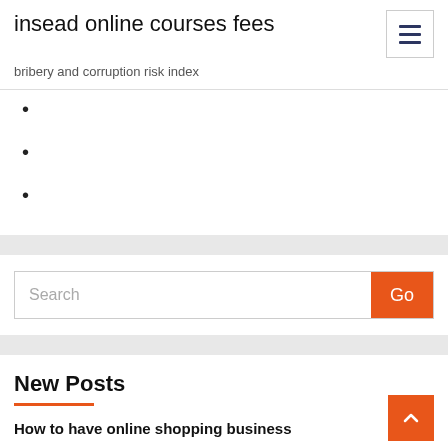insead online courses fees
bribery and corruption risk index
Search
New Posts
How to have online shopping business